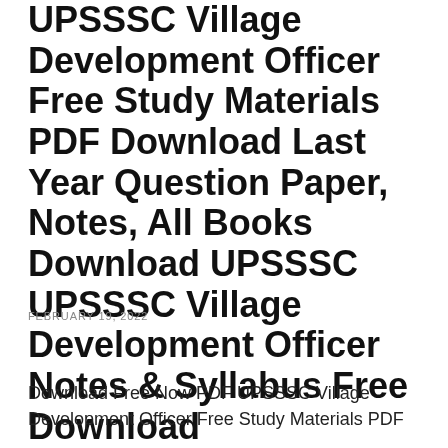UPSSSC Village Development Officer Free Study Materials PDF Download Last Year Question Paper, Notes, All Books Download UPSSSC UPSSSC Village Development Officer Notes & Syllabus Free Download
FEBRUARY 19, 2022
Download Free Now PDF UPSSSC Village Development Officer Free Study Materials PDF